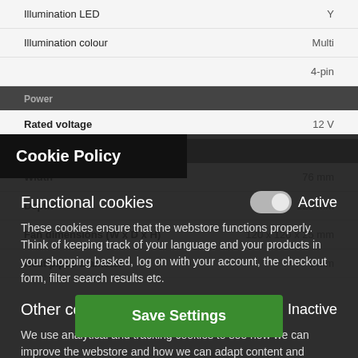Illumination LED	Y
Illumination colour	Multi
4-pin
Power
Rated voltage	12 V
Weight + dimensions
Width	76 mm
Depth	128 mm
Fan dimensions (W x D x H)	120 x 120 x 25 mm
Heat pipes diameter	6 mm
Cookie Policy
Functional cookies
Active
These cookies ensure that the webstore functions properly. Think of keeping track of your language and your products in your shopping basked, log on with your account, the checkout form, filter search results etc.
Other cookies
Inactive
We use analytical and tracking cookies to see how we can improve the webstore and how we can adapt content and potential advertisements to your preference.
Save Settings